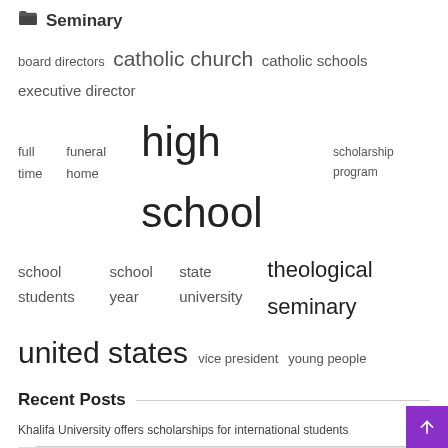Seminary
[Figure (infographic): Tag cloud with terms related to Seminary topic: board directors, catholic church, catholic schools, executive director, full time, funeral home, high school (largest), scholarship program, school students, school year, state university, theological seminary, united states, vice president, young people]
Recent Posts
Khalifa University offers scholarships for international students
Community Calendar: Overdose Awareness Day; mineral days; Live trout pond
Words LGBTQ+ Students Need to Hear: Reflections from a Theology Pro